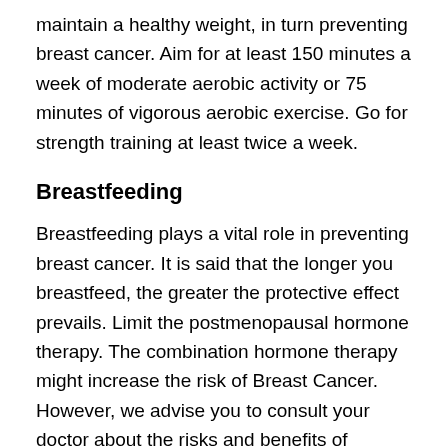maintain a healthy weight, in turn preventing breast cancer. Aim for at least 150 minutes a week of moderate aerobic activity or 75 minutes of vigorous aerobic exercise. Go for strength training at least twice a week.
Breastfeeding
Breastfeeding plays a vital role in preventing breast cancer. It is said that the longer you breastfeed, the greater the protective effect prevails. Limit the postmenopausal hormone therapy. The combination hormone therapy might increase the risk of Breast Cancer. However, we advise you to consult your doctor about the risks and benefits of hormone therapy.
Healthy diet
Eating a healthy diet can reduce the risk of a number of diseases, including types of cancer, diabetes, heart disease,